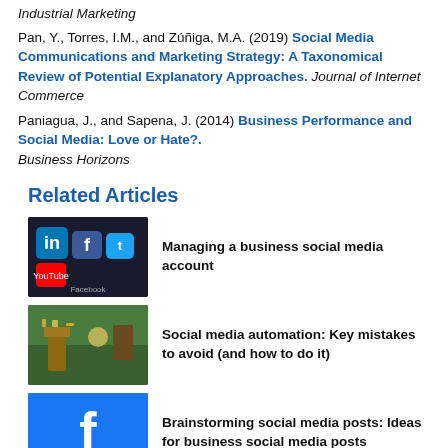Industrial Marketing
Pan, Y., Torres, I.M., and Zúñiga, M.A. (2019) Social Media Communications and Marketing Strategy: A Taxonomical Review of Potential Explanatory Approaches. Journal of Internet Commerce
Paniagua, J., and Sapena, J. (2014) Business Performance and Social Media: Love or Hate?. Business Horizons
Related Articles
Managing a business social media account
Social media automation: Key mistakes to avoid (and how to do it)
Brainstorming social media posts: Ideas for business social media posts